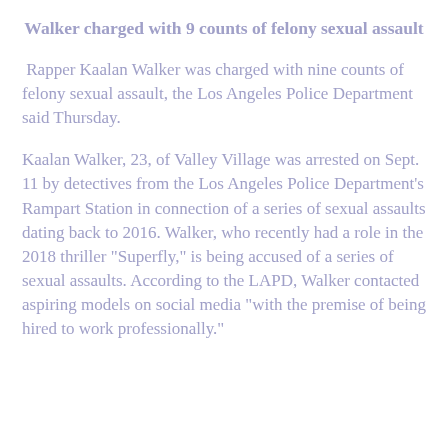Walker charged with 9 counts of felony sexual assault
Rapper Kaalan Walker was charged with nine counts of felony sexual assault, the Los Angeles Police Department said Thursday.
Kaalan Walker, 23, of Valley Village was arrested on Sept. 11 by detectives from the Los Angeles Police Department's Rampart Station in connection of a series of sexual assaults dating back to 2016. Walker, who recently had a role in the 2018 thriller "Superfly," is being accused of a series of sexual assaults. According to the LAPD, Walker contacted aspiring models on social media "with the premise of being hired to work professionally."